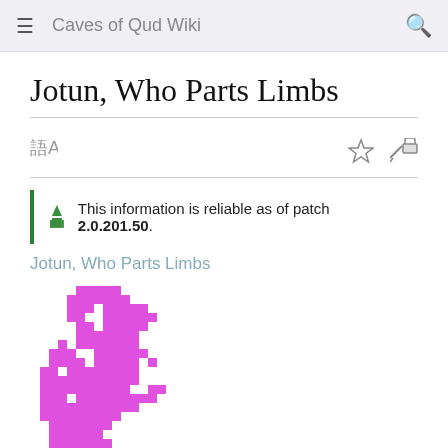Caves of Qud Wiki
Jotun, Who Parts Limbs
This information is reliable as of patch 2.0.201.50.
Jotun, Who Parts Limbs
[Figure (illustration): Pixel art sprite of Jotun, Who Parts Limbs — a magenta/pink pixelated humanoid creature rendered in a retro game style]